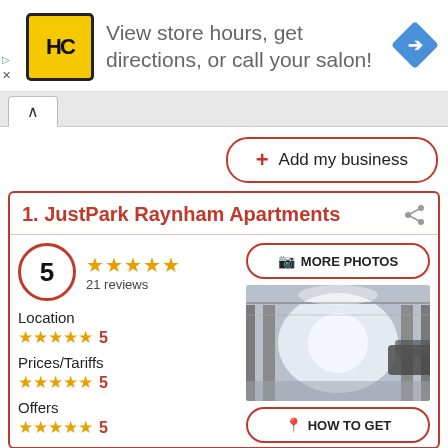[Figure (screenshot): Ad banner: HC logo (yellow), text 'View store hours, get directions, or call your salon!', blue diamond arrow icon, with small ad controls (triangle and X)]
[Figure (screenshot): Navigation tab with up caret/chevron symbol]
+ Add my business
1. JustPark Raynham Apartments
5 | ★★★★★ | 21 reviews
Location
★★★★★  5
Prices/Tariffs
★★★★★  5
Offers
★★★★★  5
[Figure (photo): Interior of a parking garage with pillars and cars]
MORE PHOTOS
HOW TO GET